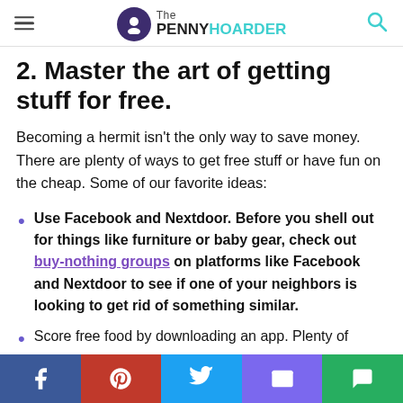The PENNY HOARDER
2. Master the art of getting stuff for free.
Becoming a hermit isn't the only way to save money. There are plenty of ways to get free stuff or have fun on the cheap. Some of our favorite ideas:
Use Facebook and Nextdoor. Before you shell out for things like furniture or baby gear, check out buy-nothing groups on platforms like Facebook and Nextdoor to see if one of your neighbors is looking to get rid of something similar.
Score free food by downloading an app. Plenty of